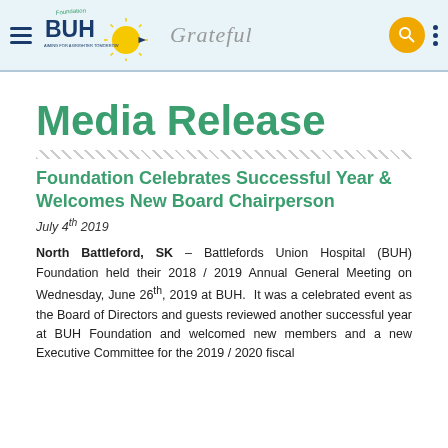BUH Foundation | Grateful
Media Release
Foundation Celebrates Successful Year & Welcomes New Board Chairperson
July 4th 2019
North Battleford, SK – Battlefords Union Hospital (BUH) Foundation held their 2018 / 2019 Annual General Meeting on Wednesday, June 26th, 2019 at BUH. It was a celebrated event as the Board of Directors and guests reviewed another successful year at BUH Foundation and welcomed new members and a new Executive Committee for the 2019 / 2020 fiscal